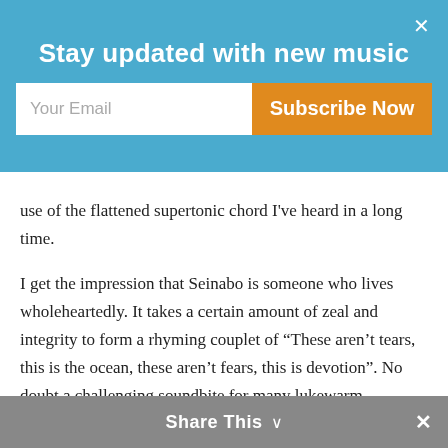Stay updated with new music
use of the flattened supertonic chord I've heard in a long time.
I get the impression that Seinabo is someone who lives wholeheartedly. It takes a certain amount of zeal and integrity to form a rhyming couplet of “These aren’t tears, this is the ocean, these aren’t fears, this is devotion”. No doubt a challenging soundbite for many lukewarm millennials, and one that transcends the primary subject matter into broader existential questions, such as “When you play Candy Crush – are you really living?”
Magnus Lidehäll, a close friend of Sey, produced this stunning vignette and has all bases covered,
Share This